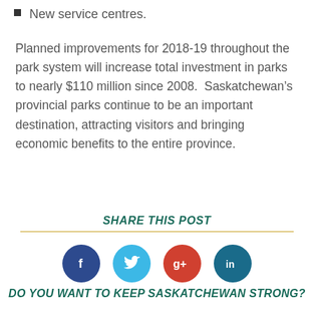New service centres.
Planned improvements for 2018-19 throughout the park system will increase total investment in parks to nearly $110 million since 2008.  Saskatchewan’s provincial parks continue to be an important destination, attracting visitors and bringing economic benefits to the entire province.
SHARE THIS POST
[Figure (infographic): Four social media share buttons: Facebook (dark blue circle with 'f'), Twitter (light blue circle with bird icon), Google+ (red circle with 'g+'), LinkedIn (teal circle with 'in')]
DO YOU WANT TO KEEP SASKATCHEWAN STRONG?